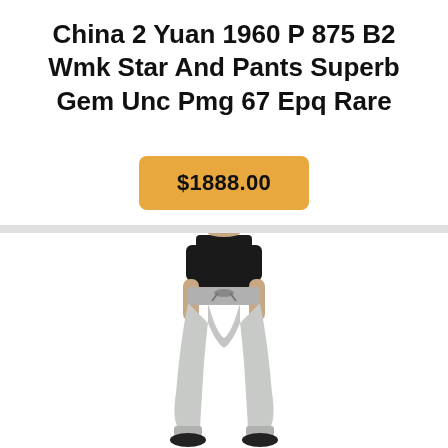China 2 Yuan 1960 P 875 B2 Wmk Star And Pants Superb Gem Unc Pmg 67 Epq Rare
$1888.00
[Figure (photo): A person wearing light grey loose-fitting pants with a drawstring waist and a black top, standing with hands at sides, showing the pants from waist to ankles with black shoes.]